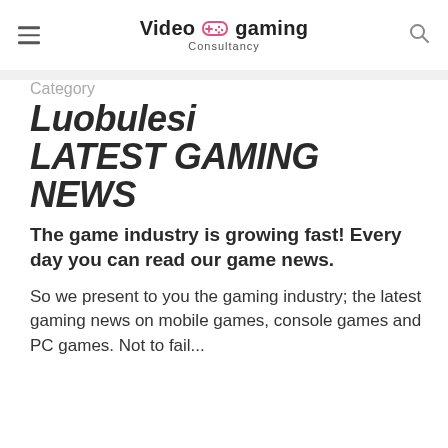Video gaming Consultancy
Category
Luobulesi LATEST GAMING NEWS
The game industry is growing fast! Every day you can read our game news.
So we present to you the gaming industry; the latest gaming news on mobile games, console games and PC games. Not to fail...